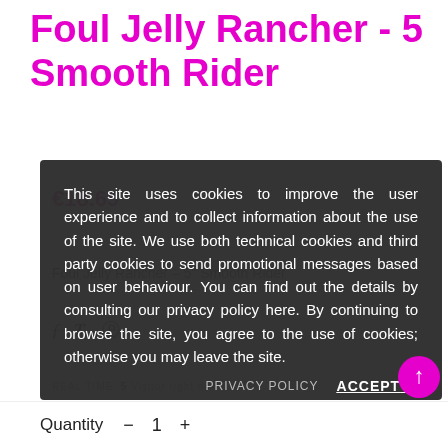Foul Jelly Rancher - 5 Smooth Rider
This site uses cookies to improve the user experience and to collect information about the use of the site. We use both technical cookies and third party cookies to send promotional messages based on user behaviour. You can find out the details by consulting our privacy policy here. By continuing to browse the site, you agree to the use of cookies; otherwise you may leave the site.
PRIVACY POLICY   ACCEPT ✓
Quantity  -  1  +